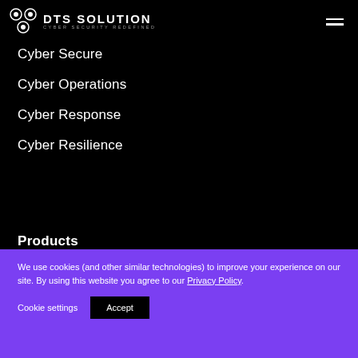DTS SOLUTION CYBER SECURITY REDEFINED
Cyber Secure
Cyber Operations
Cyber Response
Cyber Resilience
Products
We use cookies (and other similar technologies) to improve your experience on our site. By using this website you agree to our Privacy Policy.
Cookie settings   Accept